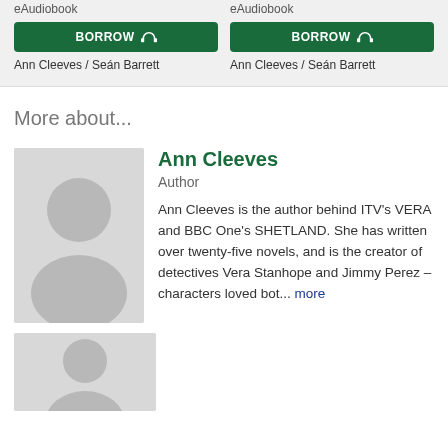eAudiobook
BORROW
Ann Cleeves / Seán Barrett
eAudiobook
BORROW
Ann Cleeves / Seán Barrett
More about...
[Figure (photo): Placeholder avatar image for Ann Cleeves]
Ann Cleeves
Author
Ann Cleeves is the author behind ITV's VERA and BBC One's SHETLAND. She has written over twenty-five novels, and is the creator of detectives Vera Stanhope and Jimmy Perez – characters loved bot... more
[Figure (photo): Placeholder avatar image (second author or narrator)]